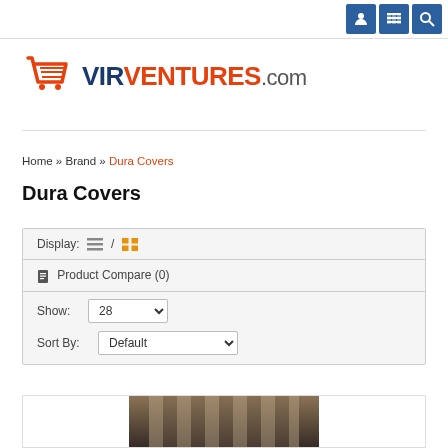[Navigation icons: user, list, search]
[Figure (logo): VirVentures.com logo with shopping cart icon in orange/red, VIR in dark blue bold, VENTURES in orange-red bold, .com in gray]
Home » Brand » Dura Covers
Dura Covers
Display: [list icon] / [grid icon]
Product Compare (0)
Show: 28 ▾
Sort By: Default ▾
[Figure (photo): Partial product photo showing what appears to be a dark leather or fabric chair/seat against a beige curtain/drape background]